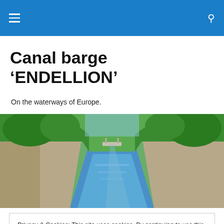Canal barge ‘ENDELLION’
On the waterways of Europe.
[Figure (photo): A scenic canal waterway with green banks and trees on either side, stone walls flanking the entrance, blue water leading to a bridge in the distance.]
Privacy & Cookies: This site uses cookies. By continuing to use this website, you agree to their use.
To find out more, including how to control cookies, see here: Cookie Policy